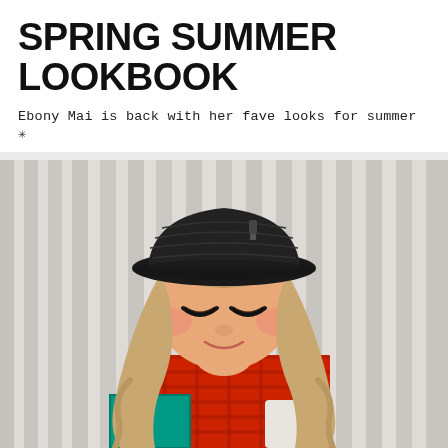SPRING SUMMER LOOKBOOK
Ebony Mai is back with her fave looks for summer ✳
[Figure (photo): Young Asian woman wearing a black bucket hat, looking down with eyes closed, smiling. She has long wavy light brown hair, heavy eye makeup, and is wearing a colorful outfit with red plaid and teal/blue tones. Background is a white draped curtain.]